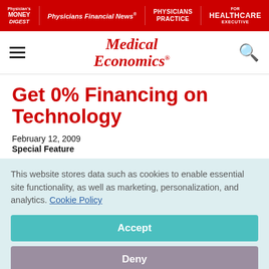Physician's Money Digest | Physicians Financial News | Physicians Practice | Healthcare Executive
[Figure (logo): Medical Economics logo with hamburger menu and search icon]
Get 0% Financing on Technology
February 12, 2009
Special Feature
This website stores data such as cookies to enable essential site functionality, as well as marketing, personalization, and analytics. Cookie Policy
Accept
Deny